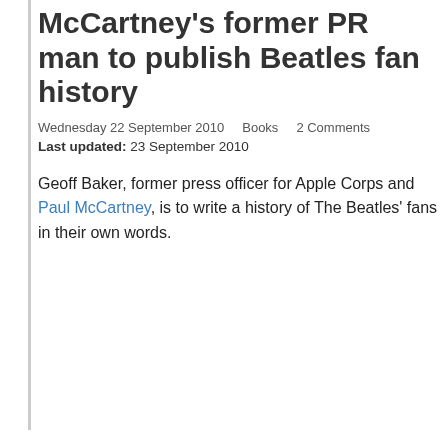McCartney's former PR man to publish Beatles fan history
Wednesday 22 September 2010    Books    2 Comments
Last updated: 23 September 2010
Geoff Baker, former press officer for Apple Corps and Paul McCartney, is to write a history of The Beatles' fans in their own words.